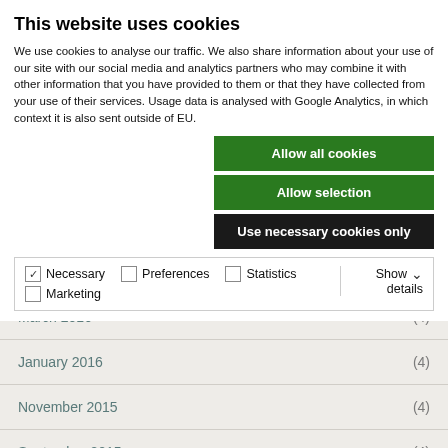This website uses cookies
We use cookies to analyse our traffic. We also share information about your use of our site with our social media and analytics partners who may combine it with other information that you have provided to them or that they have collected from your use of their services. Usage data is analysed with Google Analytics, in which context it is also sent outside of EU.
Allow all cookies
Allow selection
Use necessary cookies only
Necessary  Preferences  Statistics  Marketing  Show details
March 2016 (4)
January 2016 (4)
November 2015 (4)
September 2015 (4)